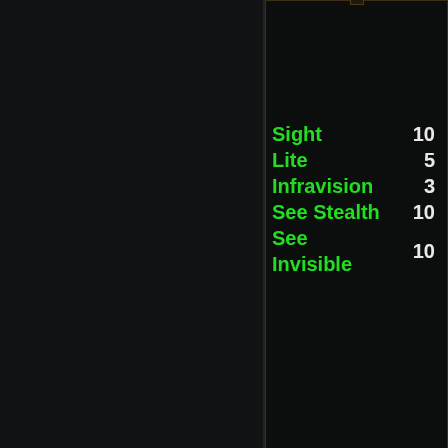| Stat | Value |
| --- | --- |
| Sight | 10 |
| Lite | 5 |
| Infravision | 3 |
| See Stealth | 10 |
| See Invisible | 10 |
Of
| Stat | Value |
| --- | --- |
| Damage | 64 |
| Accuracy | 38 |
| Crit Chance | 5% |
| APR | 2 |
| Speed | 1.0 |
| Stat | Value |
| --- | --- |
| Spellpower | 43 |